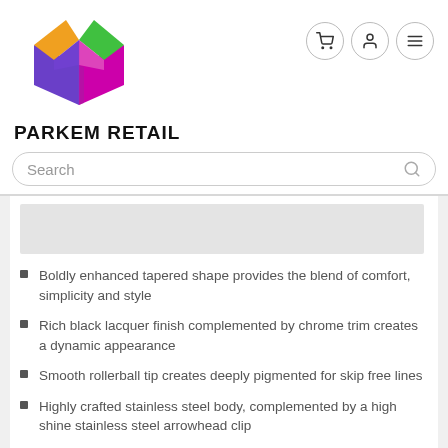[Figure (logo): Parkem Retail logo: colorful 3D open box with orange, green, purple, magenta panels, above the text PARKEM RETAIL in bold black uppercase letters]
[Figure (other): Navigation icons: shopping cart, user account, and hamburger menu — each in a circular outlined button]
Search
Boldly enhanced tapered shape provides the blend of comfort, simplicity and style
Rich black lacquer finish complemented by chrome trim creates a dynamic appearance
Smooth rollerball tip creates deeply pigmented for skip free lines
Highly crafted stainless steel body, complemented by a high shine stainless steel arrowhead clip